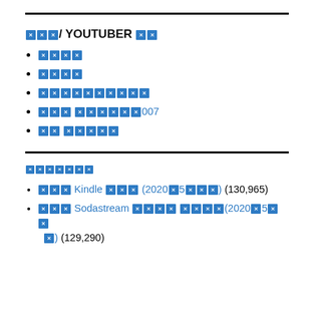□□□/ YOUTUBER □□
□□□□
□□□□
□□□□□□□□□□
□□□ □□□□□□007
□□ □□□□□
□□□□□□□
□□□ Kindle □□□ (2020□5□□□) (130,965)
□□□ Sodastream □□□□ □□□□(2020□5□□□) (129,290)